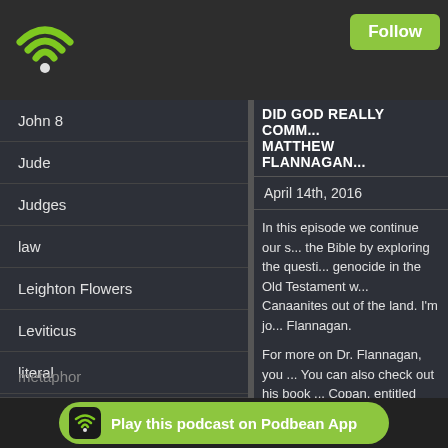[Figure (logo): Green WiFi signal icon on dark background]
Follow
John 8
Jude
Judges
law
Leighton Flowers
Leviticus
literal
literary framework
Matthew F...
metaphor
DID GOD REALLY COMM... MATTHEW FLANNAGAN...
April 14th, 2016
In this episode we continue our s... the Bible by exploring the questi... genocide in the Old Testament w... Canaanites out of the land. I'm jo... Flannagan.
For more on Dr. Flannagan, you ... You can also check out his book ... Copan, entitled Did God Really C... the Justice of God.
Enjoy the Show!
P.S. I tried a new platform for re... Sorry for the poor audio on my s...
[Figure (logo): Play this podcast on Podbean App button with green background and Podbean icon]